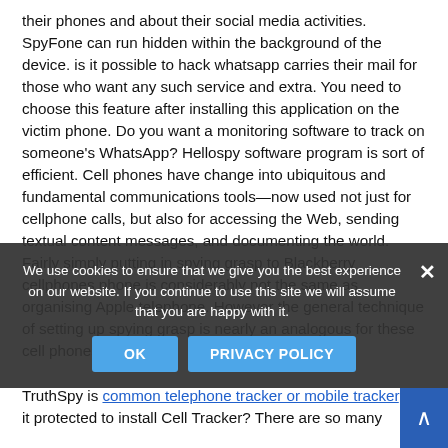their phones and about their social media activities. SpyFone can run hidden within the background of the device. is it possible to hack whatsapp carries their mail for those who want any such service and extra. You need to choose this feature after installing this application on the victim phone. Do you want a monitoring software to track on someone's WhatsApp? Hellospy software program is sort of efficient. Cell phones have change into ubiquitous and fundamental communications tools—now used not just for cellphone calls, but also for accessing the Web, sending textual content messages, and documenting the world. Fairly simply putting in spying grasp to Blackberry cellphones phone is considerably not the same as organising Apple telephone. However the general technique of setting up spying grasp is nearly an analogous for these cell phones.

TruthSpy is common telephone tracker or mobile tracker. Is it protected to install Cell Tracker? There are so many...
We use cookies to ensure that we give you the best experience on our website. If you continue to use this site we will assume that you are happy with it.
OK   PRIVACY POLICY